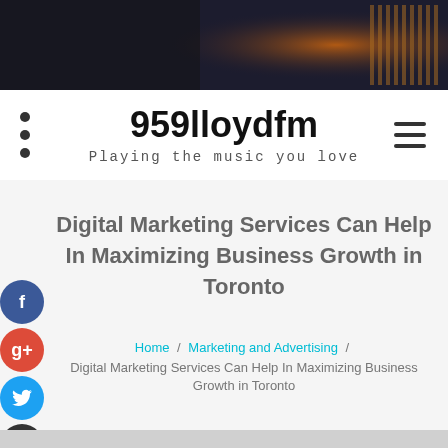[Figure (photo): Dark header image with musical microphone and bokeh lighting in orange/brown tones]
959lloydfm
Playing the music you love
Digital Marketing Services Can Help In Maximizing Business Growth in Toronto
Home / Marketing and Advertising / Digital Marketing Services Can Help In Maximizing Business Growth in Toronto